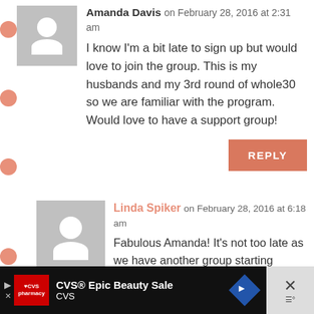[Figure (illustration): Gray user avatar placeholder with white silhouette (head and shoulders) - comment 1]
Amanda Davis on February 28, 2016 at 2:31 am
I know I'm a bit late to sign up but would love to join the group. This is my husbands and my 3rd round of whole30 so we are familiar with the program. Would love to have a support group!
REPLY
[Figure (illustration): Gray user avatar placeholder with white silhouette (head and shoulders) - comment 2]
Linda Spiker on February 28, 2016 at 6:18 am
Fabulous Amanda! It's not too late as we have another group starting March 1st! Please join the FB page!
REPLY
CVS® Epic Beauty Sale CVS